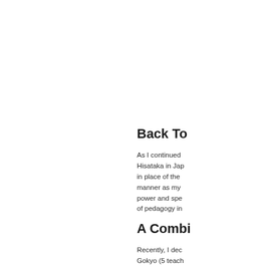Back To
As I continued Hisataka in Jap in place of the manner as my power and spe of pedagogy in
A Combi
Recently, I dec Gokyo (5 teach